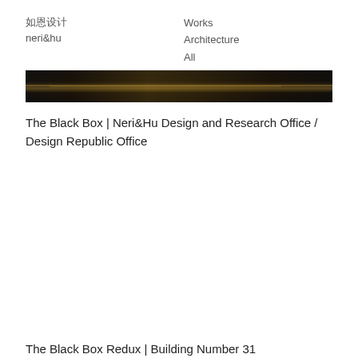如恩设计
neri&hu
Works
Architecture
All
[Figure (photo): Dark horizontal strip image, predominantly black with a subtle warm golden-brown stripe or light reflection running horizontally through the center]
The Black Box | Neri&Hu Design and Research Office / Design Republic Office
The Black Box Redux | Building Number 31